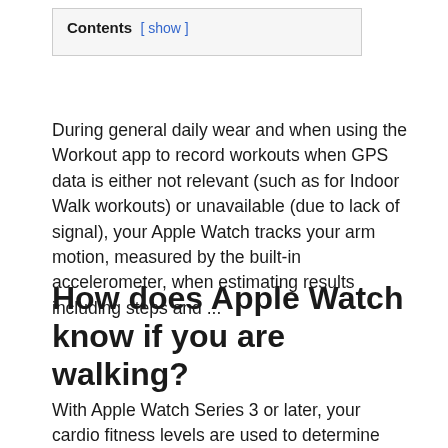Contents [ show ]
During general daily wear and when using the Workout app to record workouts when GPS data is either not relevant (such as for Indoor Walk workouts) or unavailable (due to lack of signal), your Apple Watch tracks your arm motion, measured by the built-in accelerometer, when estimating results including steps and ...
How does Apple Watch know if you are walking?
With Apple Watch Series 3 or later, your cardio fitness levels are used to determine